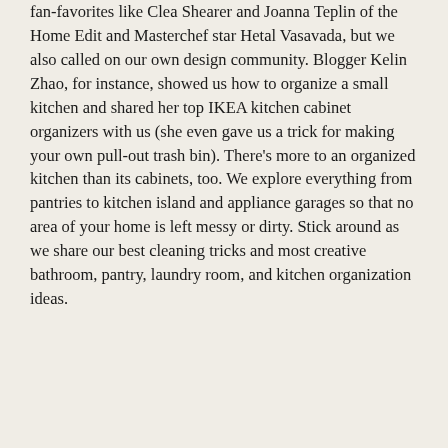fan-favorites like Clea Shearer and Joanna Teplin of the Home Edit and Masterchef star Hetal Vasavada, but we also called on our own design community. Blogger Kelin Zhao, for instance, showed us how to organize a small kitchen and shared her top IKEA kitchen cabinet organizers with us (she even gave us a trick for making your own pull-out trash bin). There's more to an organized kitchen than its cabinets, too. We explore everything from pantries to kitchen island and appliance garages so that no area of your home is left messy or dirty. Stick around as we share our best cleaning tricks and most creative bathroom, pantry, laundry room, and kitchen organization ideas.